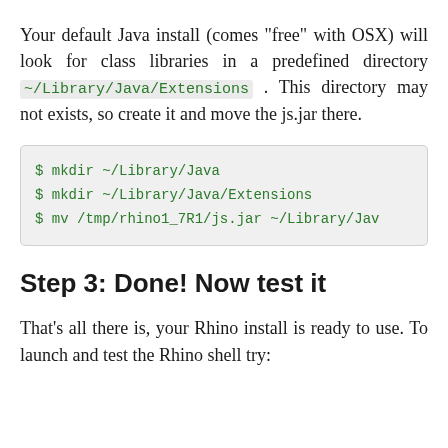Your default Java install (comes "free" with OSX) will look for class libraries in a predefined directory ~/Library/Java/Extensions . This directory may not exists, so create it and move the js.jar there.
$ mkdir ~/Library/Java
$ mkdir ~/Library/Java/Extensions
$ mv /tmp/rhino1_7R1/js.jar ~/Library/Jav
Step 3: Done! Now test it
That's all there is, your Rhino install is ready to use. To launch and test the Rhino shell try: